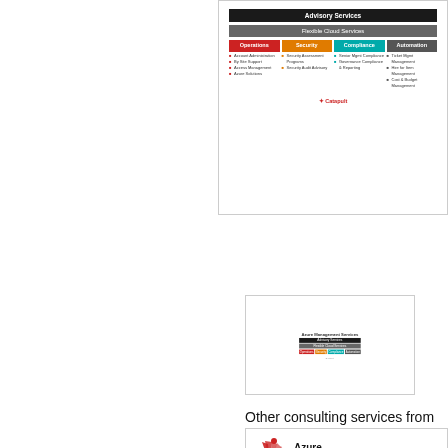[Figure (infographic): Catapult Systems Azure Management Services diagram showing Advisory Services at top, Flexible Cloud Services layer, then four columns: Operations (red), Security (orange), Compliance (teal), Automation (gray) each with bullet point services listed below.]
[Figure (screenshot): Thumbnail of the Azure Management Services diagram/infographic.]
Other consulting services from Catapult Systems, LLC
[Figure (logo): Catapult Systems LLC logo (red starburst/fan icon) next to Azure... card]
Azure...
By Catapult Systems, LLC